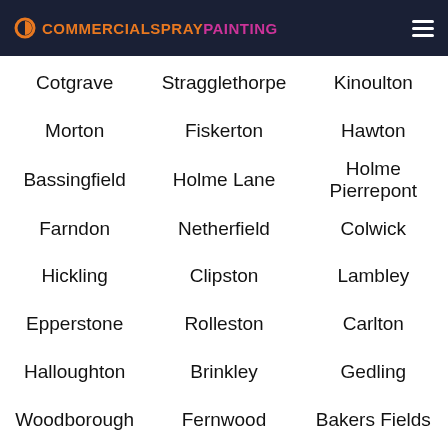COMMERCIALSPRAYPAINTING
Cotgrave
Stragglethorpe
Kinoulton
Morton
Fiskerton
Hawton
Bassingfield
Holme Lane
Holme Pierrepont
Farndon
Netherfield
Colwick
Hickling
Clipston
Lambley
Epperstone
Rolleston
Carlton
Halloughton
Brinkley
Gedling
Woodborough
Fernwood
Bakers Fields